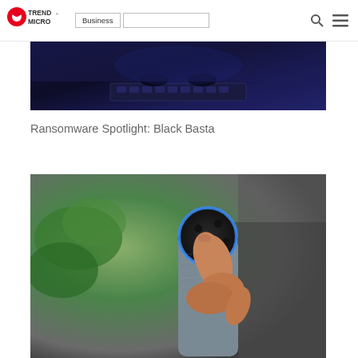Trend Micro | Business
[Figure (photo): Dark blue image showing a hacker typing on a keyboard with gloves]
Ransomware Spotlight: Black Basta
[Figure (photo): A hand pressing the top of an Amazon Echo smart speaker with a blue ring light, with a green plant in the background]